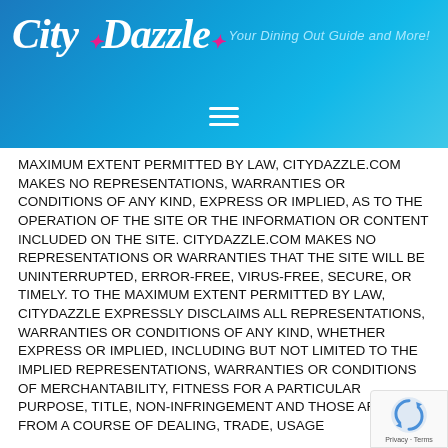City Dazzle — Your Dining Out Guide and More!
MAXIMUM EXTENT PERMITTED BY LAW, CITYDAZZLE.COM MAKES NO REPRESENTATIONS, WARRANTIES OR CONDITIONS OF ANY KIND, EXPRESS OR IMPLIED, AS TO THE OPERATION OF THE SITE OR THE INFORMATION OR CONTENT INCLUDED ON THE SITE. CITYDAZZLE.COM MAKES NO REPRESENTATIONS OR WARRANTIES THAT THE SITE WILL BE UNINTERRUPTED, ERROR-FREE, VIRUS-FREE, SECURE, OR TIMELY. TO THE MAXIMUM EXTENT PERMITTED BY LAW, CITYDAZZLE EXPRESSLY DISCLAIMS ALL REPRESENTATIONS, WARRANTIES OR CONDITIONS OF ANY KIND, WHETHER EXPRESS OR IMPLIED, INCLUDING BUT NOT LIMITED TO THE IMPLIED REPRESENTATIONS, WARRANTIES OR CONDITIONS OF MERCHANTABILITY, FITNESS FOR A PARTICULAR PURPOSE, TITLE, NON-INFRINGEMENT AND THOSE ARISING FROM A COURSE OF DEALING, TRADE, USAGE